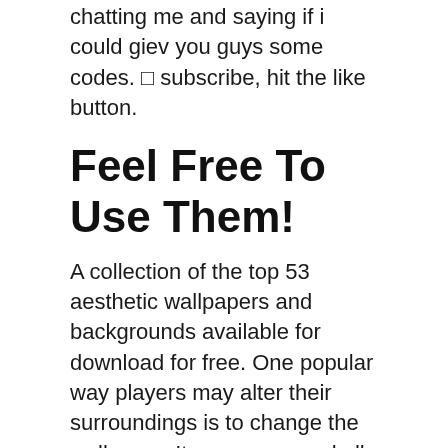chatting me and saying if i could giev you guys some codes. □ subscribe, hit the like button.
Feel Free To Use Them!
A collection of the top 53 aesthetic wallpapers and backgrounds available for download for free. One popular way players may alter their surroundings is to change the wallpaper. It serves no goal all although there are wing gliders on the high of it.
Chelsea+Chloe♥ (@Urllocalchavs), Luv Ya Doll 💋(@Chavvy.babesx),